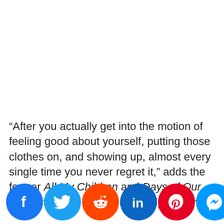“After you actually get into the motion of feeling good about yourself, putting those clothes on, and showing up, almost every single time you never regret it,” adds the former All My Children and Days of Our Lives star. Her mantra also helps pull her [social icons] says even out don’t feel like something [www...]
[Figure (infographic): Social media sharing icons row: Facebook, Twitter, Reddit, LinkedIn, Pinterest, Messenger, Gmail, Upload/share button]